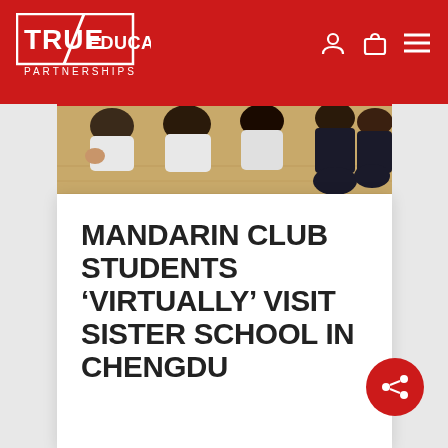TRUE EDUCATION PARTNERSHIPS
[Figure (photo): Children sitting on a wooden floor, some wearing white polo shirts, viewed from above/side angle in what appears to be a school setting.]
MANDARIN CLUB STUDENTS 'VIRTUALLY' VISIT SISTER SCHOOL IN CHENGDU